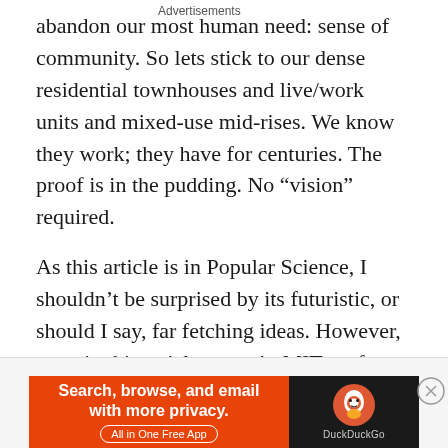abandon our most human need: sense of community. So lets stick to our dense residential townhouses and live/work units and mixed-use mid-rises. We know they work; they have for centuries. The proof is in the pudding. No “vision” required.
As this article is in Popular Science, I shouldn’t be surprised by its futuristic, or should I say, far fetching ideas. However, most in this article weren’t. MIT professor Dennis Frenchman, says the most important factor is accommodating a huge influx of population into cities is efficiency. Transportation networks, city locations for manufacturing firms, power generation, and food production, and mixed-use buildings are solutions to cut
Advertisements
[Figure (infographic): DuckDuckGo advertisement banner. Orange left panel with text 'Search, browse, and email with more privacy. All in One Free App'. Dark right panel with DuckDuckGo logo and name.]